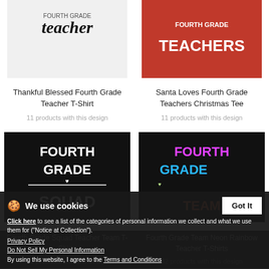[Figure (photo): T-shirt design showing 'teacher' script text on light background]
Thankful Blessed Fourth Grade Teacher T-Shirt
11 products with this design
[Figure (photo): Red t-shirt design showing 'FOURTH GRADE TEACHERS' in white bold text]
Santa Loves Fourth Grade Teachers Christmas Tee
11 products with this design
[Figure (photo): Black t-shirt with white text FOURTH GRADE SQUAD and arrow/heart decoration]
[Figure (photo): Black t-shirt with neon rainbow text FOURTH GRADE TEAM and arrow/heart decoration]
Fourth Grade Squad Teacher Team T-Shirts
Fourth Grade Team Neon Rainbow Teacher T-Shirts
32 products with this design
We use cookies
Click here to see a list of the categories of personal information we collect and what we use them for ("Notice at Collection").
Privacy Policy
Do Not Sell My Personal Information
By using this website, I agree to the Terms and Conditions